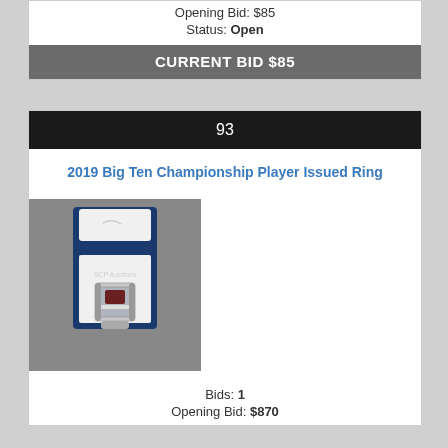Opening Bid: $85
Status: Open
CURRENT BID $85
93
2019 Big Ten Championship Player Issued Ring
[Figure (photo): Championship ring in a blue display box, photographed on a gray background]
Bids: 1
Opening Bid: $870